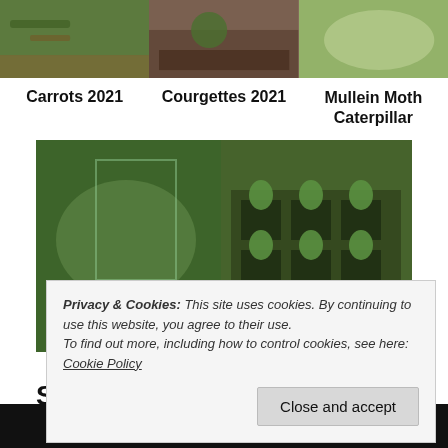[Figure (photo): Top row of three garden photos: carrots growing, courgettes in soil, mullein moth caterpillar on leaves]
Carrots 2021
Courgettes 2021
Mullein Moth Caterpillar
[Figure (photo): Two garden photos side by side: courgettes in raised bed greenhouse, tomato seedlings in pots]
Courgettes &
Tomato Seedlings
Privacy & Cookies: This site uses cookies. By continuing to use this website, you agree to their use.
To find out more, including how to control cookies, see here: Cookie Policy
Close and accept
Search